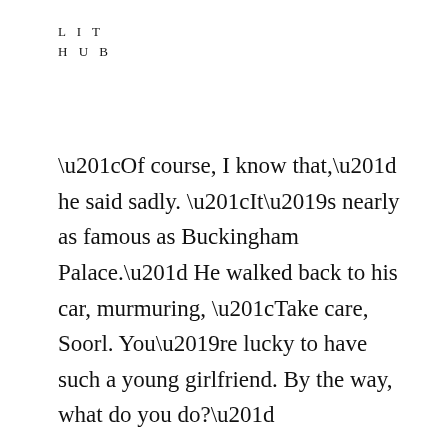LIT
HUB
“Of course, I know that,” he said sadly. “It’s nearly as famous as Buckingham Palace.” He walked back to his car, murmuring, “Take care, Soorl. You’re lucky to have such a young girlfriend. By the way, what do you do?”
His comments and questions were